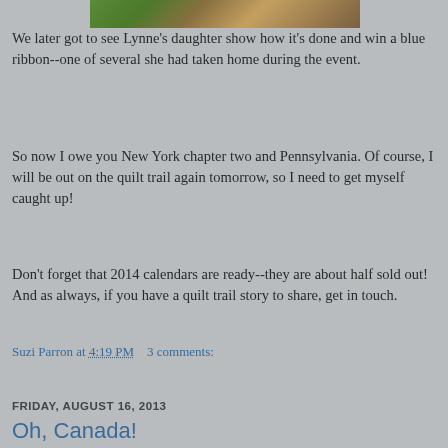[Figure (photo): Partial photo strip showing outdoor scene with greenery and wooden/stone background]
We later got to see Lynne's daughter show how it's done and win a blue ribbon--one of several she had taken home during the event.
So now I owe you New York chapter two and Pennsylvania. Of course, I will be out on the quilt trail again tomorrow, so I need to get myself caught up!
Don't forget that 2014 calendars are ready--they are about half sold out!  And as always, if you have a quilt trail story to share, get in touch.
Suzi Parron at 4:19 PM    3 comments:
Share
FRIDAY, AUGUST 16, 2013
Oh, Canada!